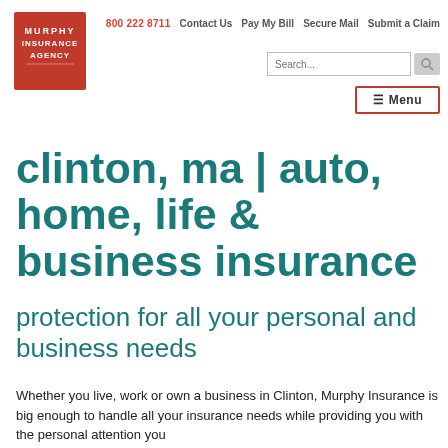Murphy Insurance Agency | 800 222 8711 | Contact Us | Pay My Bill | Secure Mail | Submit a Claim
[Figure (logo): Murphy Insurance Agency logo — red background with white text]
clinton, ma | auto, home, life & business insurance
protection for all your personal and business needs
Whether you live, work or own a business in Clinton, Murphy Insurance is big enough to handle all your insurance needs while providing you with the personal attention you